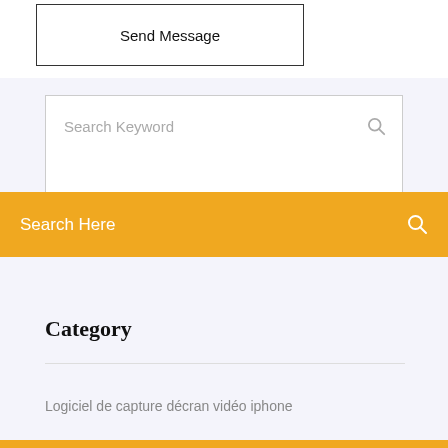Send Message
Search Keyword
Search Here
Category
Logiciel de capture décran vidéo iphone